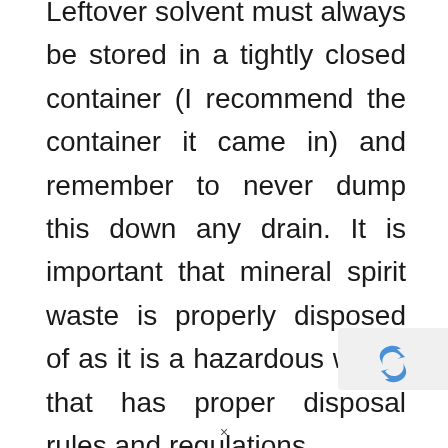Leftover solvent must always be stored in a tightly closed container (I recommend the container it came in) and remember to never dump this down any drain. It is important that mineral spirit waste is properly disposed of as it is a hazardous waste that has proper disposal rules and regulations.
By calling your local city commissioners or council office, you can figure out when your local area will be hosting a w...